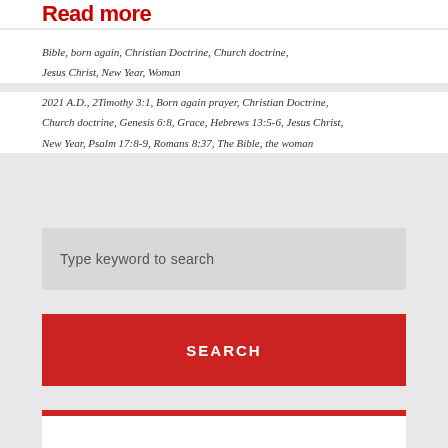Read more
Bible, born again, Christian Doctrine, Church doctrine, Jesus Christ, New Year, Woman
2021 A.D., 2Timothy 3:1, Born again prayer, Christian Doctrine, Church doctrine, Genesis 6:8, Grace, Hebrews 13:5-6, Jesus Christ, New Year, Psalm 17:8-9, Romans 8:37, The Bible, the woman
Type keyword to search
SEARCH